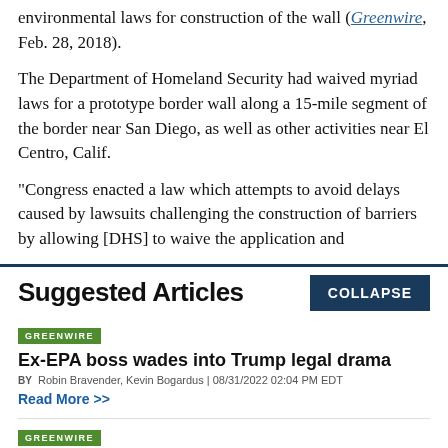environmental laws for construction of the wall (Greenwire, Feb. 28, 2018).
The Department of Homeland Security had waived myriad laws for a prototype border wall along a 15-mile segment of the border near San Diego, as well as other activities near El Centro, Calif.
"Congress enacted a law which attempts to avoid delays caused by lawsuits challenging the construction of barriers by allowing [DHS] to waive the application and
Suggested Articles
COLLAPSE
GREENWIRE
Ex-EPA boss wades into Trump legal drama
BY Robin Bravender, Kevin Bogardus | 08/31/2022 02:04 PM EDT
Read More >>
GREENWIRE
Audit uncovers staffing, morale woes at key USGS water lab